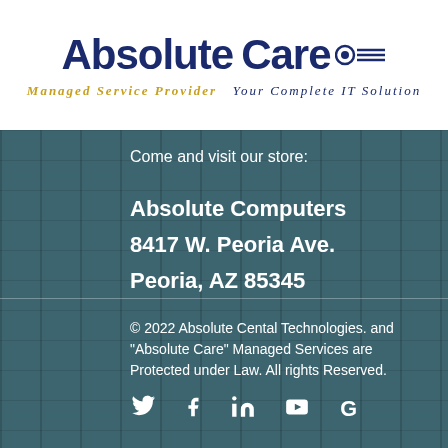[Figure (logo): Absolute Care logo with navy blue text 'Absolute Care', a circular icon, and decorative lines. Below: gold italic 'Managed Service Provider' and navy italic 'Your Complete IT Solution'.]
Come and visit our store:
Absolute Computers
8417 W. Peoria Ave.
Peoria, AZ 85345
© 2022 Absolute Cental Technologies. and "Absolute Care" Managed Services are Protected under Law. All rights Reserved.
[Figure (infographic): Row of 5 white social media icons: Twitter (bird), Facebook (f), LinkedIn (in), YouTube (play button), Google (G)]